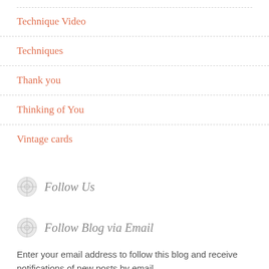Technique Video
Techniques
Thank you
Thinking of You
Vintage cards
Follow Us
Follow Blog via Email
Enter your email address to follow this blog and receive notifications of new posts by email.
Email Address